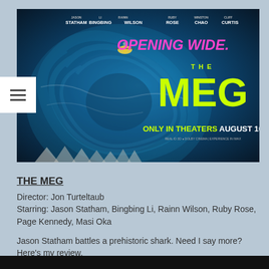[Figure (photo): Movie poster for 'The Meg' featuring a large prehistoric shark swirling in ocean water with a small helicopter above it. Text reads: cast names at top, 'OPENING WIDE.' in pink, 'THE MEG' in yellow-green, 'ONLY IN THEATERS AUGUST 10' at bottom.]
THE MEG
Director: Jon Turteltaub
Starring: Jason Statham, Bingbing Li, Rainn Wilson, Ruby Rose, Page Kennedy, Masi Oka
Jason Statham battles a prehistoric shark. Need I say more? Here's my review.
Don't forget to click SUBSCRIBE on my You Tube Channel for more reviews and interviews.
[Figure (screenshot): Dark video bar at the bottom of the page]